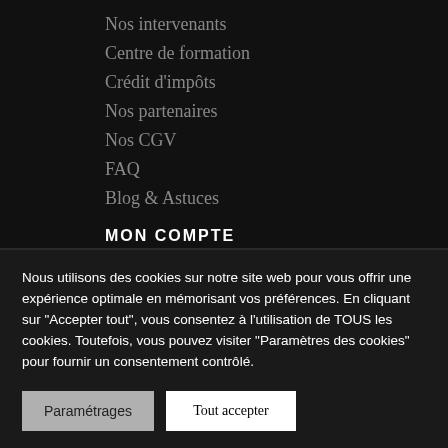Nos intervenants
Centre de formation
Crédit d'impôts
Nos partenaires
Nos CGV
FAQ
Blog & Astuces
MON COMPTE
Nous utilisons des cookies sur notre site web pour vous offrir une expérience optimale en mémorisant vos préférences. En cliquant sur "Accepter tout", vous consentez à l'utilisation de TOUS les cookies. Toutefois, vous pouvez visiter "Paramètres des cookies" pour fournir un consentement contrôlé.
Paramétrages | Tout accepter